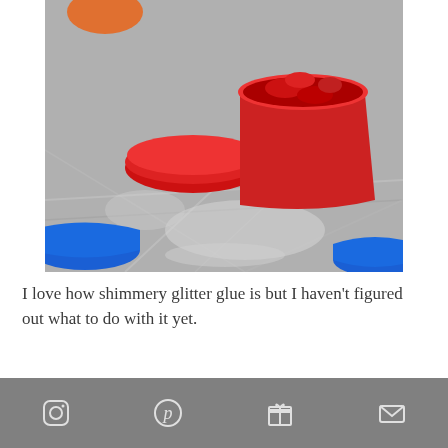[Figure (photo): Colored containers (red and blue plastic cups/lids) filled with glitter glue sitting on crinkled aluminum foil. A red open container in center has shimmery red glitter glue. Blue container on left and right sides visible.]
I love how shimmery glitter glue is but I haven't figured out what to do with it yet.
Then I thouroughly washed out the
Instagram Pinterest Gift Mail icons